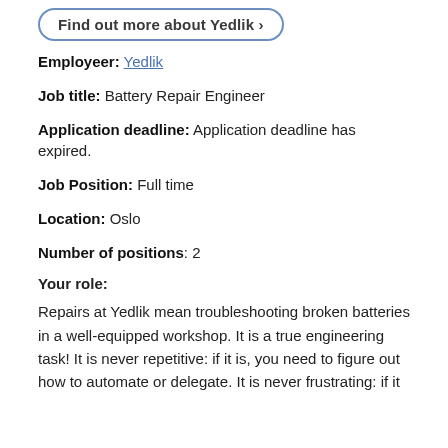[Figure (other): Rounded button/pill shape with label 'Find out more about Yedlik >']
Employeer: Yedlik
Job title: Battery Repair Engineer
Application deadline: Application deadline has expired.
Job Position: Full time
Location: Oslo
Number of positions: 2
Your role:
Repairs at Yedlik mean troubleshooting broken batteries in a well-equipped workshop. It is a true engineering task! It is never repetitive: if it is, you need to figure out how to automate or delegate. It is never frustrating: if it